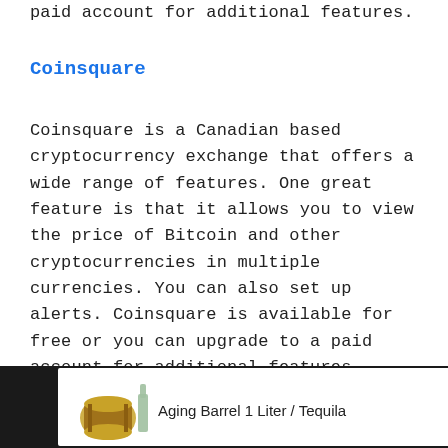paid account for additional features.
Coinsquare
Coinsquare is a Canadian based cryptocurrency exchange that offers a wide range of features. One great feature is that it allows you to view the price of Bitcoin and other cryptocurrencies in multiple currencies. You can also set up alerts. Coinsquare is available for free or you can upgrade to a paid account for additional features.
[Figure (other): Advertisement banner at bottom: dark background with white ad box showing a tequila barrel image and text 'Aging Barrel 1 Liter / Tequila', with play and close icons, and a dark WWW logo on the right.]